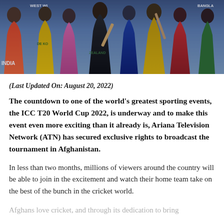[Figure (photo): Banner photo showing cricket players from multiple national teams (India, West Indies, New Zealand in black, Australia in yellow, Bangladesh, and others) in their colorful jerseys, action poses, composite image.]
(Last Updated On: August 20, 2022)
The countdown to one of the world's greatest sporting events, the ICC T20 World Cup 2022, is underway and to make this event even more exciting than it already is, Ariana Television Network (ATN) has secured exclusive rights to broadcast the tournament in Afghanistan.
In less than two months, millions of viewers around the country will be able to join in the excitement and watch their home team take on the best of the bunch in the cricket world.
Afghans love cricket, and through its dedication to bring